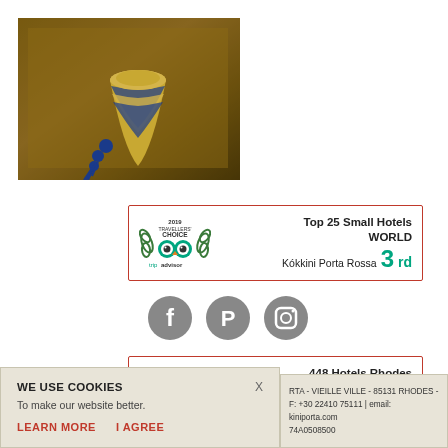[Figure (photo): Decorative spinning top with blue and yellow stripes and blue tassel, placed on a wooden surface]
[Figure (infographic): TripAdvisor Travellers' Choice 2019 badge: Top 25 Small Hotels WORLD - Kókkini Porta Rossa 3rd]
[Figure (infographic): Social media icons: Facebook, Pinterest, Instagram]
[Figure (infographic): TripAdvisor Travellers' Choice 2019 badge: 448 Hotels Rhodes GREECE - Kókkini Porta Rossa 1st]
WE USE COOKIES
To make our website better.
LEARN MORE    I AGREE
RTA - VIEILLE VILLE - 85131 RHODES -
F: +30 22410 75111 | email:
kiniporta.com
74A0508500